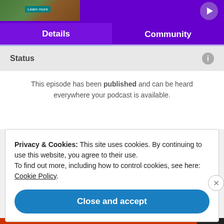[Figure (screenshot): Top purple banner with thumbnail image and play button]
Details
Community
Status
This episode has been published and can be heard everywhere your podcast is available.
Privacy & Cookies: This site uses cookies. By continuing to use this website, you agree to their use.
To find out more, including how to control cookies, see here: Cookie Policy
Close and accept